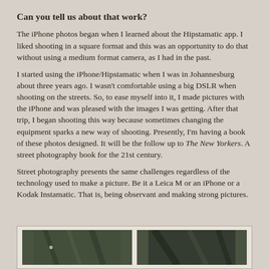Can you tell us about that work?
The iPhone photos began when I learned about the Hipstamatic app. I liked shooting in a square format and this was an opportunity to do that without using a medium format camera, as I had in the past.
I started using the iPhone/Hipstamatic when I was in Johannesburg about three years ago. I wasn't comfortable using a big DSLR when shooting on the streets. So, to ease myself into it, I made pictures with the iPhone and was pleased with the images I was getting. After that trip, I began shooting this way because sometimes changing the equipment sparks a new way of shooting. Presently, I'm having a book of these photos designed. It will be the follow up to The New Yorkers. A street photography book for the 21st century.
Street photography presents the same challenges regardless of the technology used to make a picture. Be it a Leica M or an iPhone or a Kodak Instamatic. That is, being observant and making strong pictures.
[Figure (photo): Two small thumbnail photographs side by side, partially visible at the bottom of the page. Both appear to be dark, blurred street photography images with green/dark tones.]